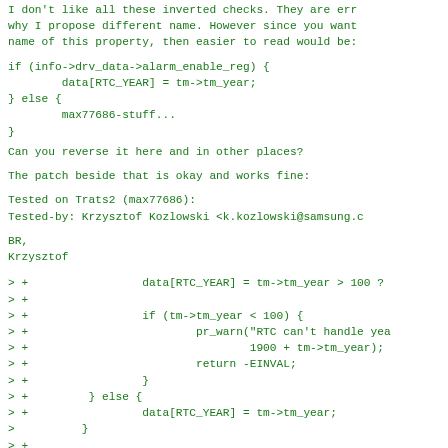I don't like all these inverted checks. They are err why I propose different name. However since you want name of this property, then easier to read would be:
Can you reverse it here and in other places?
The patch beside that is okay and works fine:
Tested on Trats2 (max77686):
Tested-by: Krzysztof Kozlowski <k.kozlowski@samsung.c
BR,
Krzysztof